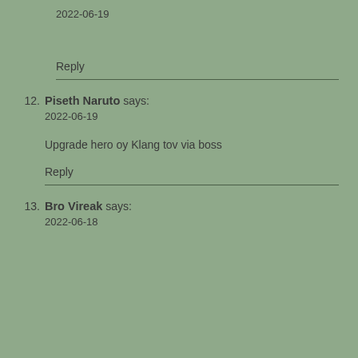2022-06-19
Reply
12. Piseth Naruto says:
2022-06-19

Upgrade hero oy Klang tov via boss

Reply
13. Bro Vireak says:
2022-06-18